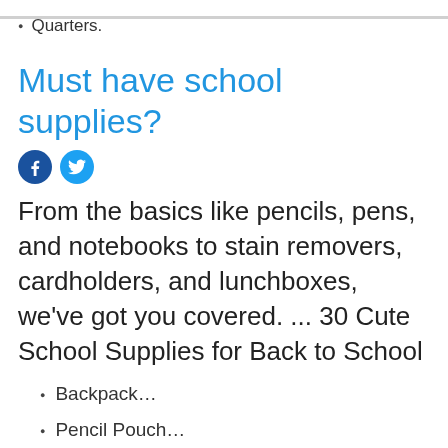Quarters.
Must have school supplies?
[Figure (other): Social media share icons: Facebook (blue circle with f) and Twitter (blue circle with bird)]
From the basics like pencils, pens, and notebooks to stain removers, cardholders, and lunchboxes, we've got you covered. ... 30 Cute School Supplies for Back to School
Backpack…
Pencil Pouch…